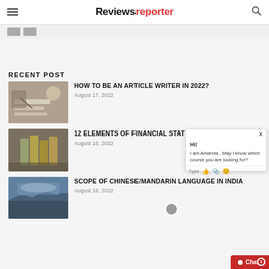Reviewsreporter
RECENT POST
[Figure (photo): Person writing at a desk with coffee cup and notebook]
HOW TO BE AN ARTICLE WRITER IN 2022?
August 17, 2022
[Figure (photo): Hands holding US dollar bills fanned out]
12 ELEMENTS OF FINANCIAL STATEMENTS IN 2022
August 16, 2022
[Figure (photo): Great Wall of China scenic landscape with mountains]
SCOPE OF CHINESE/MANDARIN LANGUAGE IN INDIA
August 16, 2022